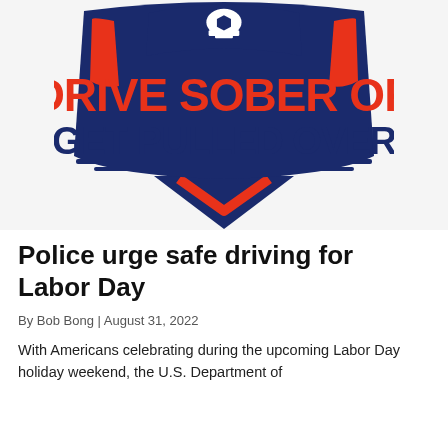[Figure (logo): Drive Sober or Get Pulled Over campaign badge logo. Navy blue shield/badge shape with red accent stripes, white police officer helmet symbol at the top center. Large bold red text reads 'DRIVE SOBER OR' and below in dark navy 'GET PULLED OVER'. Red chevron/V shape at the bottom of the badge.]
Police urge safe driving for Labor Day
By Bob Bong | August 31, 2022
With Americans celebrating during the upcoming Labor Day holiday weekend, the U.S. Department of